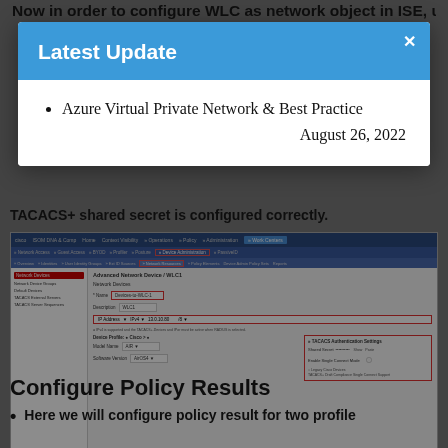Now in order to configure WLC as network object in ISE, use
TACACS+ shared secret is configured correctly.
[Figure (screenshot): Cisco ISE Network Devices configuration screenshot showing Network Groups, Network Device Groups, Default Devices, TACACS External Servers, TACACS Server Sequences sections. Main area shows Network Devices form with Name field (Devices-to-WLC), Description field (WLC1), IP Address field, and TACACS Authentication Settings panel with Shared Secret field highlighted in red border.]
Configure Policy Results
Here we will configure policy result for two profile
[Figure (screenshot): Latest Update modal dialog with blue header showing title 'Latest Update', close button (x), and a list item: 'Azure Virtual Private Network & Best Practice' dated August 26, 2022]